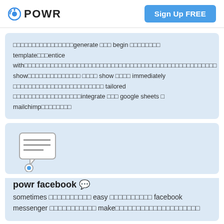POWR | Sign Up FREE
□□□□□□□□□□□□□□□□generate □□□ begin □□□□□□□□ template□□□entice with□□□□□□□□□□□□□□□□□□□□□□□□□□□□□□□□□□□□□□□□□□□□□□□□□□□□ show□□□□□□□□□□□□□□ □□□□ show □□□□ immediately □□□□□□□□□□□□□□□□□□□□□□□□ tailored □□□□□□□□□□□□□□□□□□integrate □□□ google sheets □ mailchimp□□□□□□□□
[Figure (illustration): Chat bubble icon with text lines and a circular chat indicator below]
powr facebook 💬
sometimes □□□□□□□□□□ easy □□□□□□□□□□ facebook messenger □□□□□□□□□□□ make□□□□□□□□□□□□□□□□□□□□